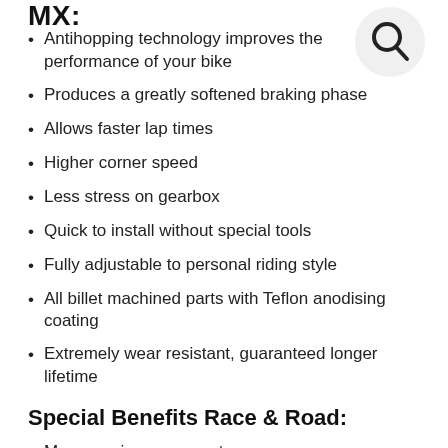MX:
Antihopping technology improves the performance of your bike
Produces a greatly softened braking phase
Allows faster lap times
Higher corner speed
Less stress on gearbox
Quick to install without special tools
Fully adjustable to personal riding style
All billet machined parts with Teflon anodising coating
Extremely wear resistant, guaranteed longer lifetime
Special Benefits Race & Road:
More precise corner entry
Fits any track layout and grip level